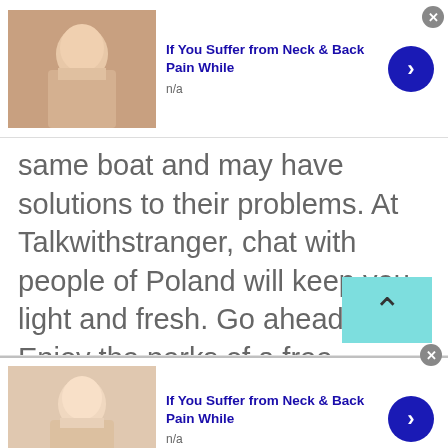[Figure (screenshot): Advertisement banner: woman touching neck, title 'If You Suffer from Neck & Back Pain While', subtitle 'n/a', blue arrow button, close X button]
same boat and may have solutions to their problems. At Talkwithstranger, chat with people of Poland will keep you light and fresh. Go ahead! Enjoy the perks of a free chatroom. It's on your fingertips at Talkwithstranger.
[Figure (screenshot): Advertisement banner: woman touching face, title 'If You Suffer from Neck & Back Pain While', subtitle 'n/a', blue arrow button, close X button]